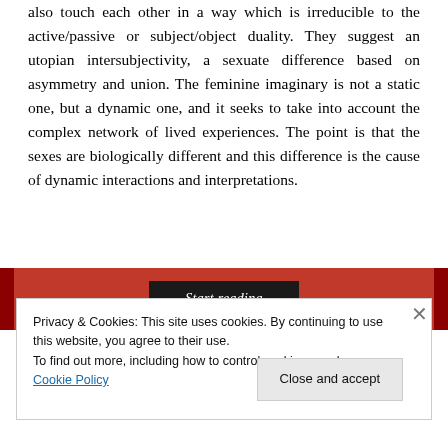also touch each other in a way which is irreducible to the active/passive or subject/object duality. They suggest an utopian intersubjectivity, a sexuate difference based on asymmetry and union. The feminine imaginary is not a static one, but a dynamic one, and it seeks to take into account the complex network of lived experiences. The point is that the sexes are biologically different and this difference is the cause of dynamic interactions and interpretations.
[Figure (screenshot): A dark red banner with a black 'Start reading' button in italic text, flanked by darker red strips on the sides.]
Privacy & Cookies: This site uses cookies. By continuing to use this website, you agree to their use.
To find out more, including how to control cookies, see here: Cookie Policy